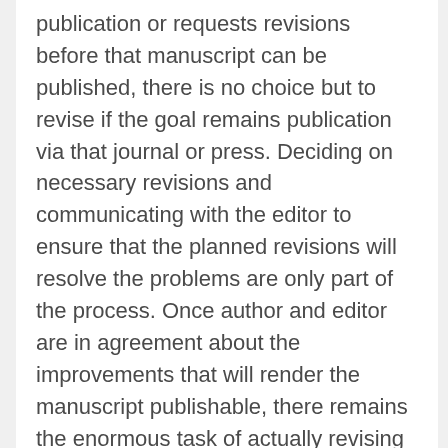publication or requests revisions before that manuscript can be published, there is no choice but to revise if the goal remains publication via that journal or press. Deciding on necessary revisions and communicating with the editor to ensure that the planned revisions will resolve the problems are only part of the process. Once author and editor are in agreement about the improvements that will render the manuscript publishable, there remains the enormous task of actually revising the document.
Recording your plans in detail as you devise them will help with the process of revision. Since the realities of editing text can sometimes cause an author to stray from the best-laid plans, it can be difficult to stay on track. Consulting your